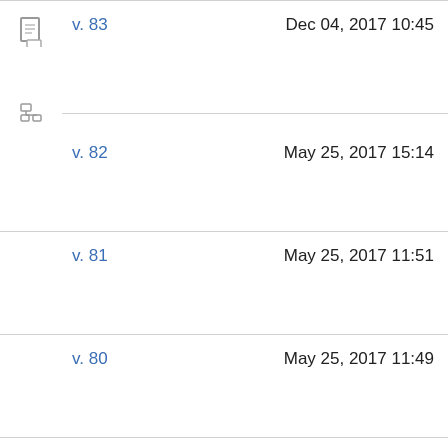v. 83   Dec 04, 2017 10:45
v. 82   May 25, 2017 15:14
v. 81   May 25, 2017 11:51
v. 80   May 25, 2017 11:49
v. 79   May 25, 2017 11:48